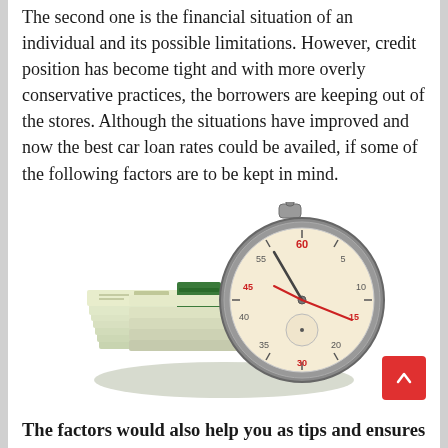The second one is the financial situation of an individual and its possible limitations. However, credit position has become tight and with more overly conservative practices, the borrowers are keeping out of the stores. Although the situations have improved and now the best car loan rates could be availed, if some of the following factors are to be kept in mind.
[Figure (photo): A stack of US dollar bills bundled with green bands, leaning against a silver stopwatch/chronometer showing numbers and a red second hand]
The factors would also help you as tips and ensures